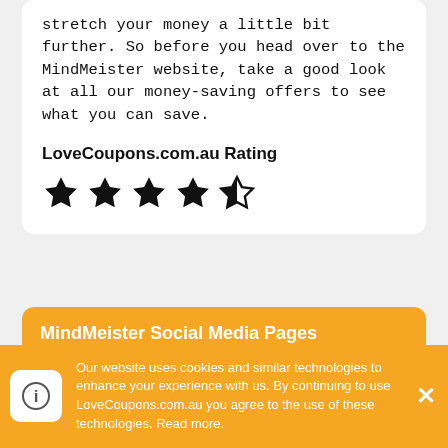stretch your money a little bit further. So before you head over to the MindMeister website, take a good look at all our money-saving offers to see what you can save.
LoveCoupons.com.au Rating
[Figure (other): 4.5 out of 5 stars rating shown with 4 filled stars and 1 half star]
MindMeister Social Media Pages
[Figure (other): Facebook and Twitter social media icon buttons]
Our website uses cookies and similar technologies to enhance your experience with us. By continuing to use LoveCoupons.com.au you agree to the use of these technologies. Read more.